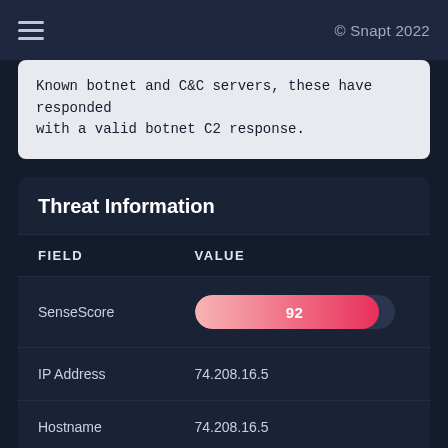© Snapt 2022
Known botnet and C&C servers, these have responded with a valid botnet C2 response.
Threat Information
| FIELD | VALUE |
| --- | --- |
| SenseScore | 92 |
| IP Address | 74.208.16.5 |
| Hostname | 74.208.16.5 |
| Country | United States |